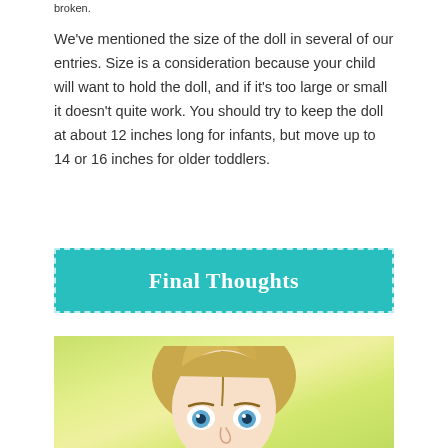broken.
We've mentioned the size of the doll in several of our entries. Size is a consideration because your child will want to hold the doll, and if it's too large or small it doesn't quite work. You should try to keep the doll at about 12 inches long for infants, but move up to 14 or 16 inches for older toddlers.
Final Thoughts
[Figure (photo): Photo of a blonde Barbie doll face with blue eyes on a yellow-green blurred background]